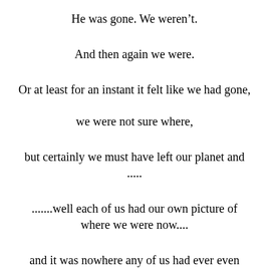He was gone. We weren't.
And then again we were.
Or at least for an instant it felt like we had gone,
we were not sure where,
but certainly we must have left our planet and
.....
.......well each of us had our own picture of where we were now....
and it was nowhere any of us had ever even